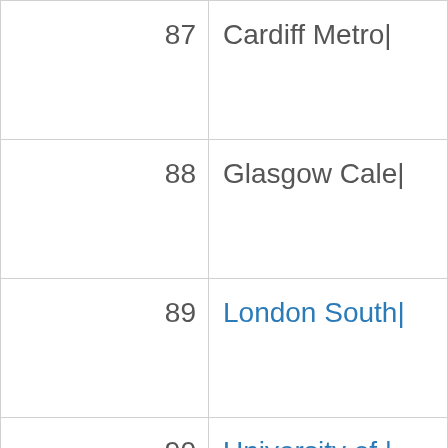| Rank | Institution |
| --- | --- |
| 87 | Cardiff Metro| |
| 88 | Glasgow Cale| |
| 89 | London South| |
| 90 | University of | |
| 91 | University of | |